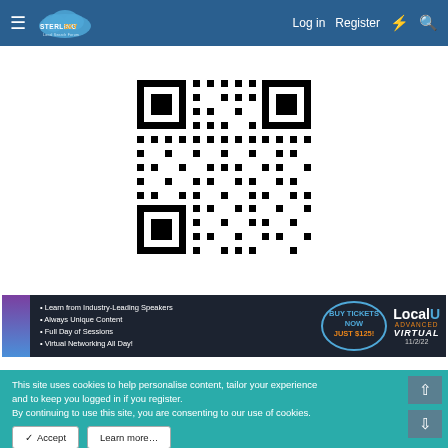Sterling Sky Local Search Forum — Log in | Register
[Figure (other): QR code — black and white matrix barcode on white background]
[Figure (other): LocalU Advanced Virtual advertisement banner — dark background with bullet points: Learn from Industry-Leading Speakers, Always Unique Content, Full Day of Sessions, Virtual Networking All Day! BUY TICKETS NOW JUST $125! Local U Advanced Virtual 11/2/22]
This site uses cookies to help personalise content, tailor your experience and to keep you logged in if you register. By continuing to use this site, you are consenting to our use of cookies.
✓ Accept   Learn more…